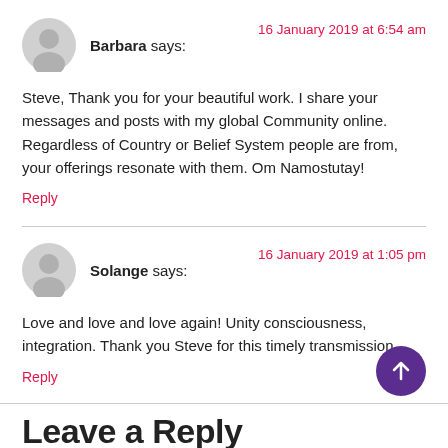Barbara says: 16 January 2019 at 6:54 am
Steve, Thank you for your beautiful work. I share your messages and posts with my global Community online. Regardless of Country or Belief System people are from, your offerings resonate with them. Om Namostutay!
Reply
Solange says: 16 January 2019 at 1:05 pm
Love and love and love again! Unity consciousness, integration. Thank you Steve for this timely transmission
Reply
Leave a Reply